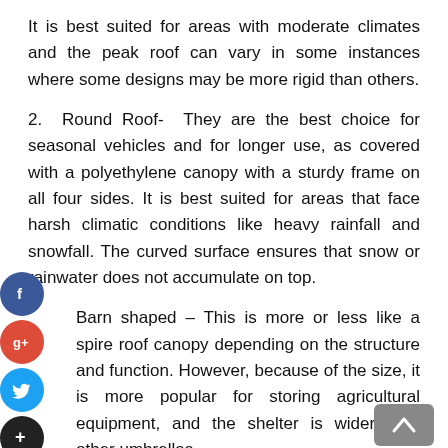It is best suited for areas with moderate climates and the peak roof can vary in some instances where some designs may be more rigid than others.
2. Round Roof- They are the best choice for seasonal vehicles and for longer use, as covered with a polyethylene canopy with a sturdy frame on all four sides. It is best suited for areas that face harsh climatic conditions like heavy rainfall and snowfall. The curved surface ensures that snow or rainwater does not accumulate on top.
Barn shaped – This is more or less like a spire roof canopy depending on the structure and function. However, because of the size, it is more popular for storing agricultural equipment, and the shelter is wider than other umbrellas.
A portable garage is either a cost-effective storage solution for your personal belongings or a garage solution for your